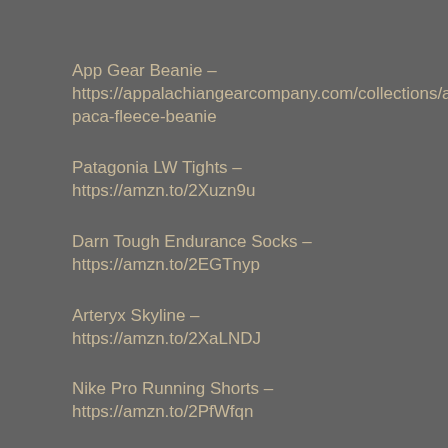App Gear Beanie – https://appalachiangearcompany.com/collections/accessories/paca-fleece-beanie
Patagonia LW Tights – https://amzn.to/2Xuzn9u
Darn Tough Endurance Socks – https://amzn.to/2EGTnyp
Arteryx Skyline – https://amzn.to/2XaLNDJ
Nike Pro Running Shorts – https://amzn.to/2PfWfqn
Buff – https://amzn.to/3i2ATJq
MU Gl... – https://amzn.to/2YIVNJX